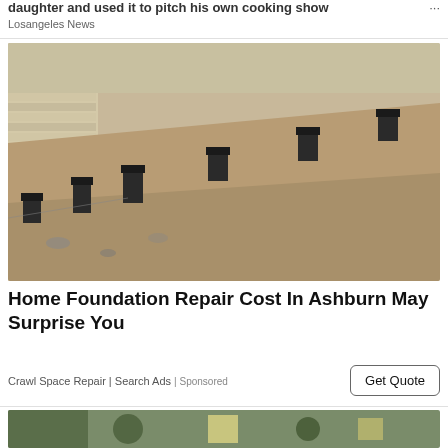daughter and used it to pitch his own cooking show …
Losangeles News
[Figure (photo): Construction site showing foundation repair work along a brick wall with steel piers/helical piles installed in an excavated trench]
Home Foundation Repair Cost In Ashburn May Surprise You
Crawl Space Repair | Search Ads | Sponsored
[Figure (photo): Partial view of another image at the bottom of the page, appears to be people outdoors]